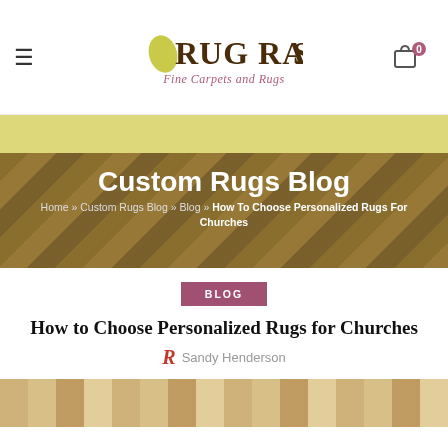Rug Rats Fine Carpets and Rugs
[Figure (other): Yellow decorative band]
Custom Rugs Blog
Home » Custom Rugs Blog » Blog » How To Choose Personalized Rugs For Churches
BLOG
How to Choose Personalized Rugs for Churches
Sandy Henderson
[Figure (photo): Bottom strip showing rug/wood flooring texture]